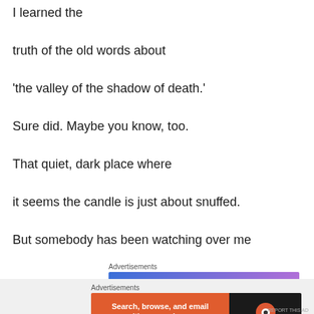I learned the
truth of the old words about
‘the valley of the shadow of death.’
Sure did. Maybe you know, too.
That quiet, dark place where
it seems the candle is just about snuffed.
But somebody has been watching over me
[Figure (screenshot): WordPress.com advertisement banner: blue-to-purple gradient with text 'Simplified pricing for everything you need.' and WordPress.com logo]
[Figure (screenshot): DuckDuckGo advertisement banner: orange left section with 'Search, browse, and email with more privacy. All in One Free App' and dark right section with DuckDuckGo logo]